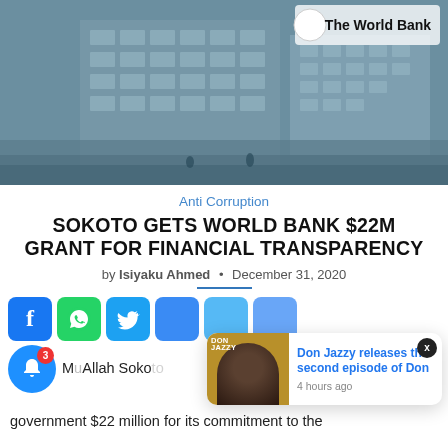[Figure (photo): World Bank building exterior, blue-tinted photo with The World Bank logo text overlay]
Anti Corruption
SOKOTO GETS WORLD BANK $22M GRANT FOR FINANCIAL TRANSPARENCY
by Isiyaku Ahmed • December 31, 2020
[Figure (infographic): Social share buttons: Facebook, WhatsApp, Twitter, and other share buttons. Notification bell with badge showing 3. Popup card showing Don Jazzy releases the second episode of Don, 4 hours ago.]
government $22 million for its commitment to the